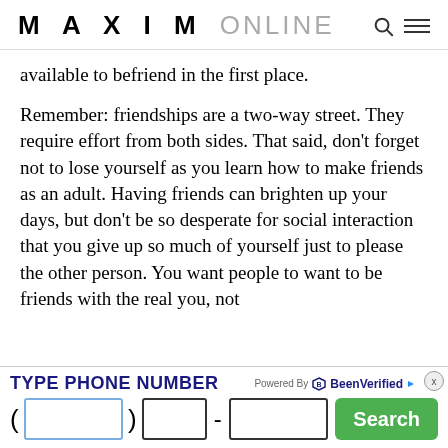MAXIM ONLINE
available to befriend in the first place.
Remember: friendships are a two-way street. They require effort from both sides. That said, don’t forget not to lose yourself as you learn how to make friends as an adult. Having friends can brighten up your days, but don’t be so desperate for social interaction that you give up so much of yourself just to please the other person. You want people to want to be friends with the real you, not
[Figure (screenshot): Advertisement banner for BeenVerified phone number lookup. Contains 'TYPE PHONE NUMBER' label with input fields for area code, exchange, and number, plus a green Search button.]